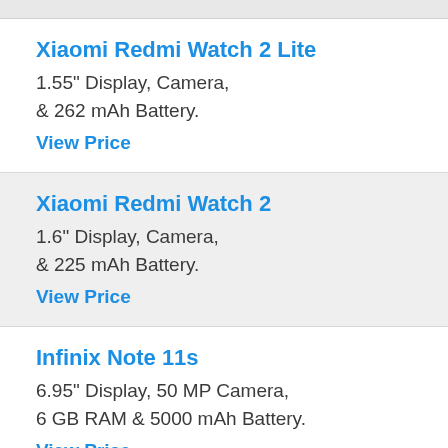Xiaomi Redmi Watch 2 Lite
1.55" Display, Camera, & 262 mAh Battery.
View Price
Xiaomi Redmi Watch 2
1.6" Display, Camera, & 225 mAh Battery.
View Price
Infinix Note 11s
6.95" Display, 50 MP Camera, 6 GB RAM & 5000 mAh Battery.
View Price
Oppo A16K
6.52" Display, 13 MP Camera, 4 GB RAM & 4230 mAh Battery.